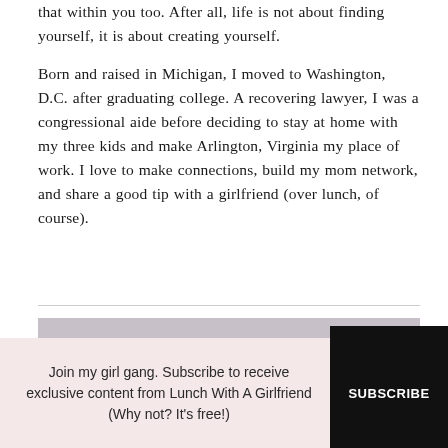that within you too. After all, life is not about finding yourself, it is about creating yourself.
Born and raised in Michigan, I moved to Washington, D.C. after graduating college. A recovering lawyer, I was a congressional aide before deciding to stay at home with my three kids and make Arlington, Virginia my place of work. I love to make connections, build my mom network, and share a good tip with a girlfriend (over lunch, of course).
SUBSCRIBE TO MY NEWSLETTER TO RECEIVE EXCLUSIVE
Join my girl gang. Subscribe to receive exclusive content from Lunch With A Girlfriend (Why not? It's free!)